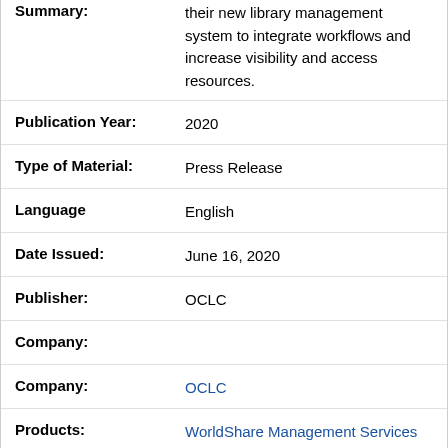Summary: their new library management system to integrate workflows and increase visibility and access resources.
Publication Year: 2020
Type of Material: Press Release
Language: English
Date Issued: June 16, 2020
Publisher: OCLC
Company:
Company: OCLC
Products: WorldShare Management Services
Libraries: Manchester Metropolitan University
Subject: System announcements -- selection